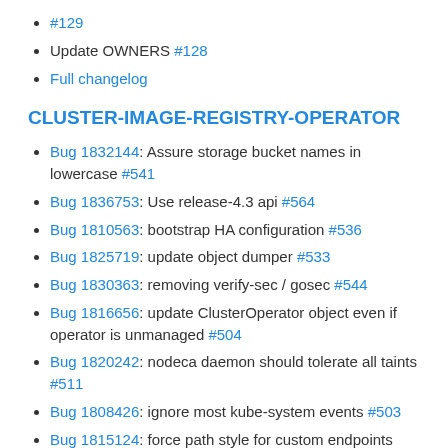#129
Update OWNERS #128
Full changelog
CLUSTER-IMAGE-REGISTRY-OPERATOR
Bug 1832144: Assure storage bucket names in lowercase #541
Bug 1836753: Use release-4.3 api #564
Bug 1810563: bootstrap HA configuration #536
Bug 1825719: update object dumper #533
Bug 1830363: removing verify-sec / gosec #544
Bug 1816656: update ClusterOperator object even if operator is unmanaged #504
Bug 1820242: nodeca daemon should tolerate all taints #511
Bug 1808426: ignore most kube-system events #503
Bug 1815124: force path style for custom endpoints #500